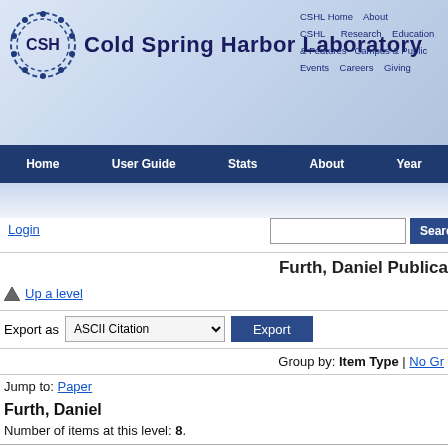[Figure (logo): Cold Spring Harbor Laboratory logo with circular DNA/bead motif and text]
CSHL Home  About CSHL  Research  Education & Features  Campus & Public  Events  Careers  Giving
Home  User Guide  Stats  About  Year
Login
Search
Furth, Daniel Publica
Up a level
Export as  ASCII Citation  Export
Group by: Item Type | No Gr
Jump to: Paper
Furth, Daniel
Number of items at this level: 8.
Paper
Lu, Shaina, Fürth, Daniel, Gillis, Jesse (October 2021) Integrative analysis meth